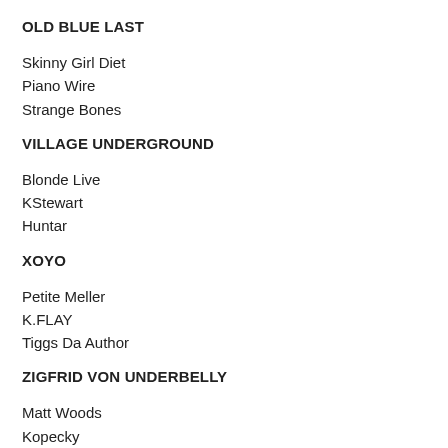OLD BLUE LAST
Skinny Girl Diet
Piano Wire
Strange Bones
VILLAGE UNDERGROUND
Blonde Live
KStewart
Huntar
XOYO
Petite Meller
K.FLAY
Tiggs Da Author
ZIGFRID VON UNDERBELLY
Matt Woods
Kopecky
Ben Abraham